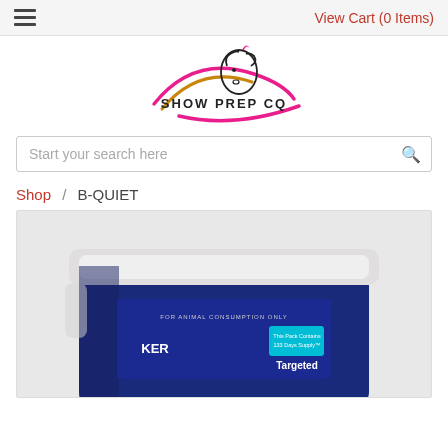View Cart (0 Items)
[Figure (logo): Show Prep CQ logo featuring a stylized horse head with pink and gold swoosh lines and the text SHOW PREP CQ]
Start your search here
Shop / B-QUIET
[Figure (photo): A large blue plastic bucket/tub with a white lid. The label reads FOR ANIMAL CONSUMPTION ONLY and shows the KER logo with text 'This Pack Contains 133 Days Supply' and 'Targeted']